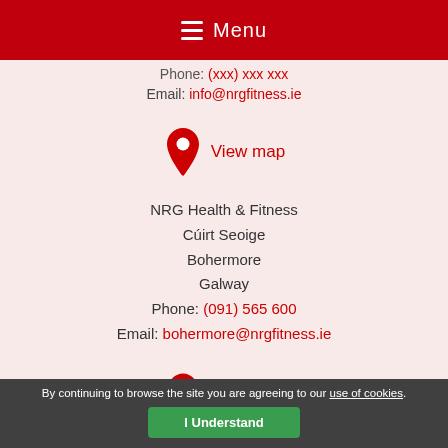Menu
Phone: (redacted)
Email: info@nrgfitness.ie
[Figure (illustration): Red map pin icon with View map link]
NRG Health & Fitness
Cúirt Seoige
Bohermore
Galway
Phone: (091) 565 600
Email: bohermore@nrgfitness.ie
[Figure (illustration): Red map pin icon with View map link (partial, bottom of page)]
By continuing to browse the site you are agreeing to our use of cookies.
I Understand